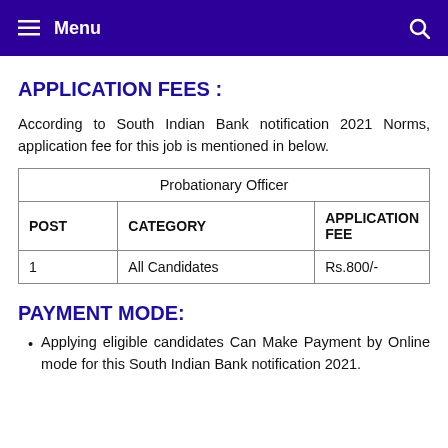Menu
APPLICATION FEES :
According to South Indian Bank notification 2021 Norms, application fee for this job is mentioned in below.
| POST | CATEGORY | APPLICATION FEE |
| --- | --- | --- |
| 1 | All Candidates | Rs.800/- |
PAYMENT MODE:
Applying eligible candidates Can Make Payment by Online mode for this South Indian Bank notification 2021.